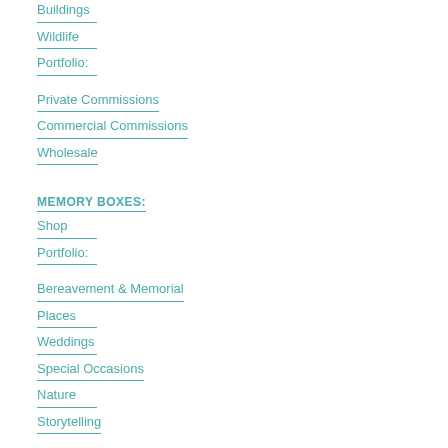Buildings
Wildlife
Portfolio:
Private Commissions
Commercial Commissions
Wholesale
MEMORY BOXES:
Shop
Portfolio:
Bereavement & Memorial
Places
Weddings
Special Occasions
Nature
Storytelling
Home
About